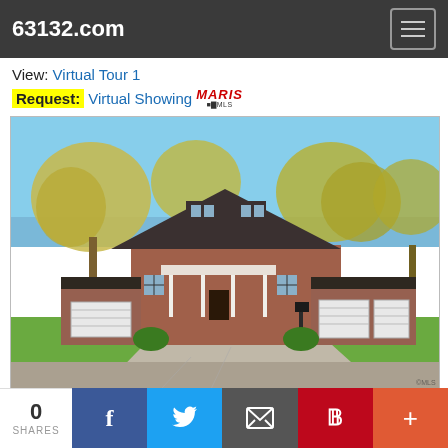63132.com
View: Virtual Tour 1
Request: Virtual Showing MARIS MLS
[Figure (photo): Exterior photo of a two-story brick colonial house with white columns, large trees in spring foliage, green lawn, white garage doors, and a concrete driveway under a clear blue sky.]
0 SHARES